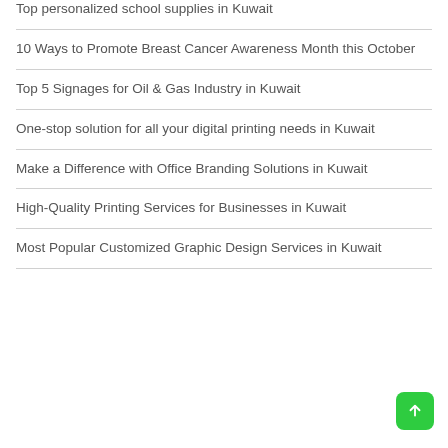Top personalized school supplies in Kuwait
10 Ways to Promote Breast Cancer Awareness Month this October
Top 5 Signages for Oil & Gas Industry in Kuwait
One-stop solution for all your digital printing needs in Kuwait
Make a Difference with Office Branding Solutions in Kuwait
High-Quality Printing Services for Businesses in Kuwait
Most Popular Customized Graphic Design Services in Kuwait